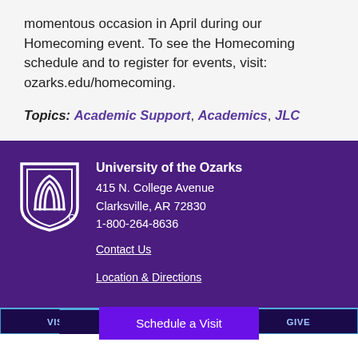momentous occasion in April during our Homecoming event. To see the Homecoming schedule and to register for events, visit: ozarks.edu/homecoming.
Topics: Academic Support, Academics, JLC
University of the Ozarks
415 N. College Avenue
Clarksville, AR 72830
1-800-264-8636
Contact Us
Location & Directions
Schedule a Visit
VISIT | APPLY | GIVE